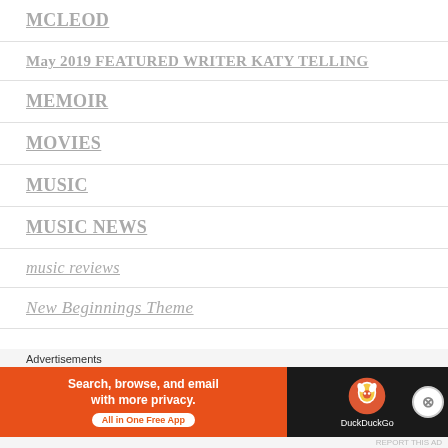MCLEOD
May 2019 FEATURED WRITER KATY TELLING
MEMOIR
MOVIES
MUSIC
MUSIC NEWS
music reviews
New Beginnings Theme
Advertisements
[Figure (screenshot): DuckDuckGo advertisement banner: 'Search, browse, and email with more privacy. All in One Free App' with DuckDuckGo logo on dark right side and orange left background.]